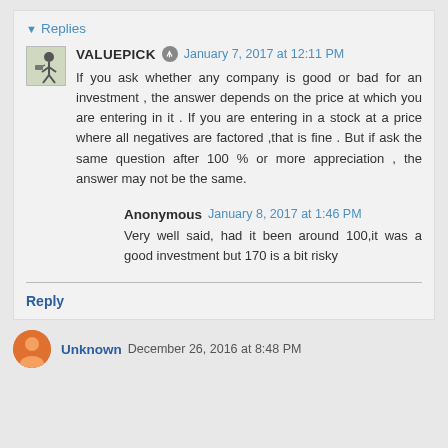▾ Replies
VALUEPICK  January 7, 2017 at 12:11 PM
If you ask whether any company is good or bad for an investment , the answer depends on the price at which you are entering in it . If you are entering in a stock at a price where all negatives are factored ,that is fine . But if ask the same question after 100 % or more appreciation , the answer may not be the same.
Anonymous January 8, 2017 at 1:46 PM
Very well said, had it been around 100,it was a good investment but 170 is a bit risky
Reply
Unknown December 26, 2016 at 8:48 PM